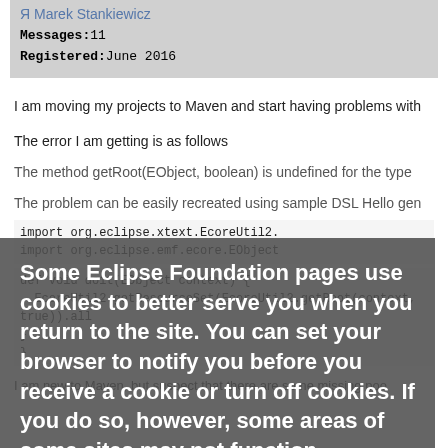Marek Stankiewicz
Messages: 11
Registered: June 2016
I am moving my projects to Maven and start having problems with
The error I am getting is as follows
The method getRoot(EObject, boolean) is undefined for the type
The problem can be easily recreated using sample DSL Hello gen
import org.eclipse.xtext.EcoreUtil2.
import org.eclipse.emf.ecore.EObject
def void doit(EObject context) {
EcoreUtil2.getResourceSet(EcoreUtil2.getRoot(context, true)).all
}
}
Some Eclipse Foundation pages use cookies to better serve you when you return to the site. You can set your browser to notify you before you receive a cookie or turn off cookies. If you do so, however, some areas of some sites may not function properly. To read Eclipse Foundation Privacy Policy click here.
Decline
Allow cookies
I am new to Maven, but suspect that there are some missing poo